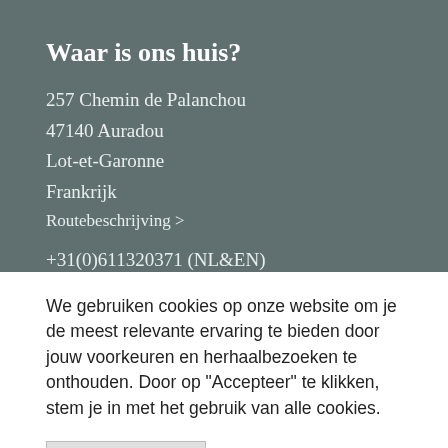Waar is ons huis?
257 Chemin de Palanchou
47140 Auradou
Lot-et-Garonne
Frankrijk
Routebeschrijving >
+31(0)611320371 (NL&EN)
info@domainedepalanchou.com
We gebruiken cookies op onze website om je de meest relevante ervaring te bieden door jouw voorkeuren en herhaalbezoeken te onthouden. Door op "Accepteer" te klikken, stem je in met het gebruik van alle cookies.
Cookie Instellingen
Alles accepteren